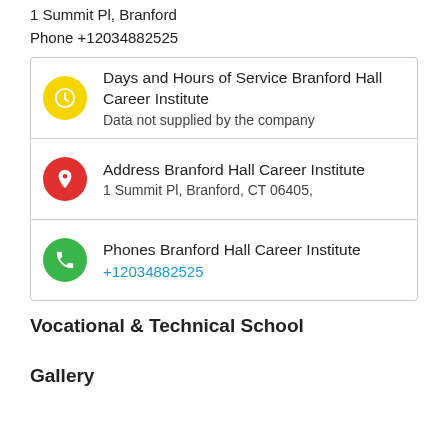1 Summit Pl, Branford
Phone +12034882525
| Days and Hours of Service Branford Hall Career Institute | Data not supplied by the company |
| Address Branford Hall Career Institute | 1 Summit Pl, Branford, CT 06405, |
| Phones Branford Hall Career Institute | +12034882525 |
Vocational & Technical School
Gallery